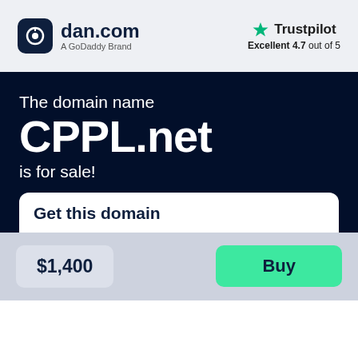dan.com — A GoDaddy Brand | Trustpilot Excellent 4.7 out of 5
The domain name CPPL.net is for sale!
Get this domain
$1,400
Buy